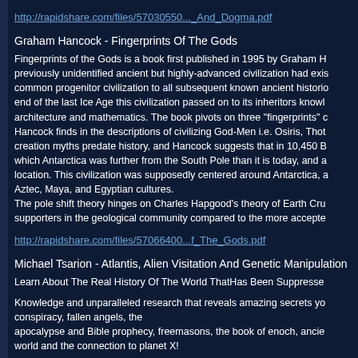http://rapidshare.com/files/57030550..._And_Dogma.pdf
Graham Hancock - Fingerprints Of The Gods
Fingerprints of the Gods is a book first published in 1995 by Graham H previously unidentified ancient but highly-advanced civilization had exis common progenitor civilization to all subsequent known ancient historio end of the last Ice Age this civilization passed on to its inheritors knowl architecture and mathematics. The book pivots on three "fingerprints" c Hancock finds in the descriptions of civilizing God-Men i.e. Osiris, Thot creation myths predate history, and Hancock suggests that in 10,450 B which Antarctica was further from the South Pole than it is today, and a location. This civilization was supposedly centered around Antarctica, a Aztec, Maya, and Egyptian cultures. The pole shift theory hinges on Charles Hapgood's theory of Earth Cru supporters in the geological community compared to the more accepte
http://rapidshare.com/files/57066400...f_The_Gods.pdf
Michael Tsarion - Atlantis, Alien Visitation And Genetic Manipulation
Learn About The Real History Of The World ThatHas Been Suppresse
Knowledge and unparalleled research that reveals amazing secrets yo conspiracy, fallen angels, the apocalypse and Bible prophecy, freemasons, the book of enoch, ancie world and the connection to planet X!
http://rapidshare.com/files/57067146...nipulation.pdf